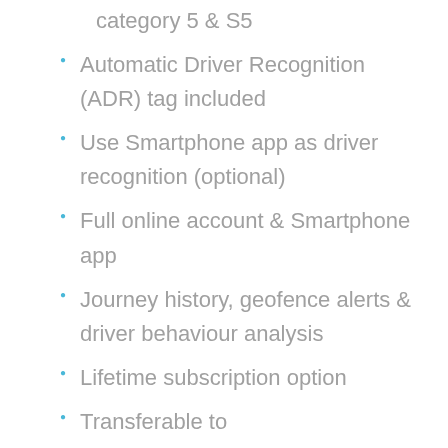category 5 & S5
Automatic Driver Recognition (ADR) tag included
Use Smartphone app as driver recognition (optional)
Full online account & Smartphone app
Journey history, geofence alerts & driver behaviour analysis
Lifetime subscription option
Transferable to